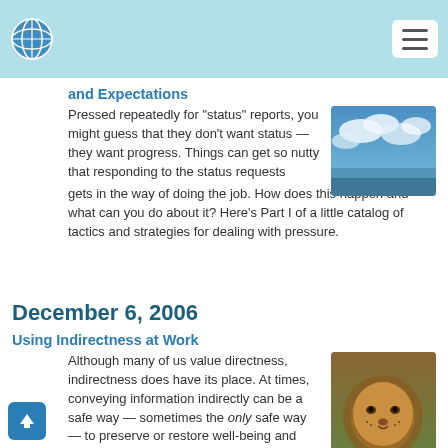Navigation bar with globe logo and hamburger menu
and Expectations
Pressed repeatedly for "status" reports, you might guess that they don't want status — they want progress. Things can get so nutty that responding to the status requests gets in the way of doing the job. How does this happen and what can you do about it? Here's Part I of a little catalog of tactics and strategies for dealing with pressure.
[Figure (photo): Sky with clouds photo]
December 6, 2006
Using Indirectness at Work
Although many of us value directness, indirectness does have its place. At times, conveying information indirectly can be a safe way — sometimes the only safe way — to preserve or restore well-being and comity within the organization.
[Figure (photo): Close-up photo of a lion]